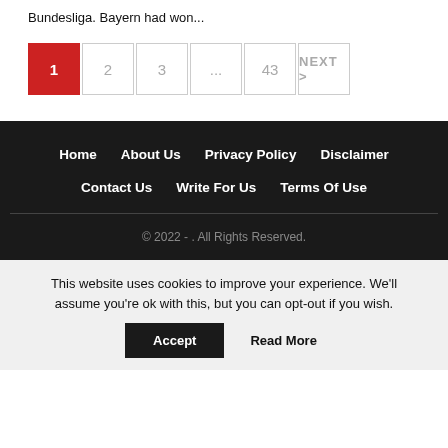Bundesliga. Bayern had won...
Pagination: 1 (active), 2, 3, ..., 43, NEXT >
Home | About Us | Privacy Policy | Disclaimer | Contact Us | Write For Us | Terms Of Use
© 2022 - . All Rights Reserved.
This website uses cookies to improve your experience. We'll assume you're ok with this, but you can opt-out if you wish.
Accept | Read More